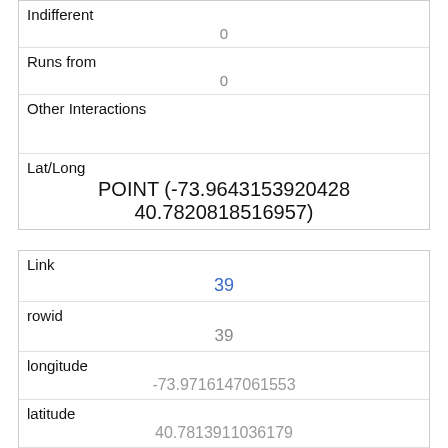| Indifferent | 0 |
| Runs from | 0 |
| Other Interactions |  |
| Lat/Long | POINT (-73.9643153920428 40.7820818516957) |
| Link | 39 |
| rowid | 39 |
| longitude | -73.9716147061553 |
| latitude | 40.7813911036179 |
| Unique Squirrel ID | 18A-PM-1018-01 |
| Hectare | 18A |